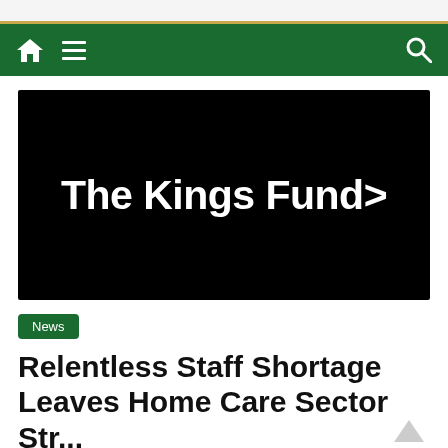[Figure (logo): The King's Fund logo — white text on black background reading 'The Kings Fund>' with a right-pointing chevron]
News
Relentless Staff Shortage Leaves Home Care Sector Struggling